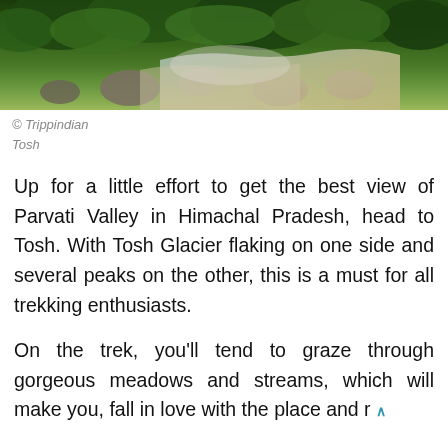[Figure (photo): Aerial/ground view of a rocky stream or waterfall surrounded by dense green forest vegetation, likely in Tosh, Himachal Pradesh]
© Trippindian
Tosh
Up for a little effort to get the best view of Parvati Valley in Himachal Pradesh, head to Tosh. With Tosh Glacier flaking on one side and several peaks on the other, this is a must for all trekking enthusiasts.
On the trek, you'll tend to graze through gorgeous meadows and streams, which will make you, fall in love with the place and r